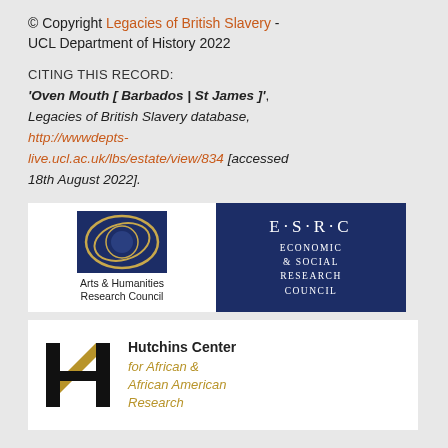© Copyright Legacies of British Slavery - UCL Department of History 2022
CITING THIS RECORD:
'Oven Mouth [ Barbados | St James ]', Legacies of British Slavery database, http://wwwdepts-live.ucl.ac.uk/lbs/estate/view/834 [accessed 18th August 2022].
[Figure (logo): Arts & Humanities Research Council logo with circular blue and gold design]
[Figure (logo): ESRC Economic & Social Research Council logo, dark blue background with white text]
[Figure (logo): Hutchins Center for African & African American Research logo with stylized H mark and gold italic text]